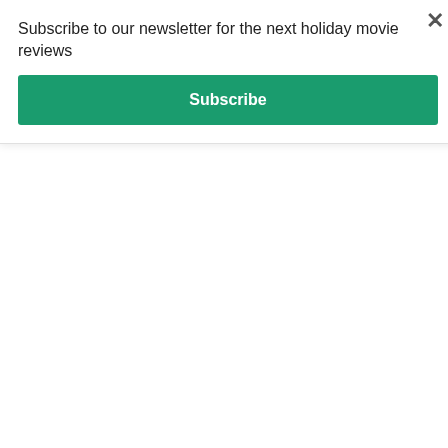Subscribe to our newsletter for the next holiday movie reviews
[Figure (other): Green Subscribe button]
into the back of a prison van, and gassed to sleep.
Aged eight to thirteen
In addition to the above mentioned violent and disturbing scenes, there are some scenes in this movie that could scare or disturb children aged eight to thirteen, including the following:
Bart is dared by Homer to climb up the TV aerial on the roof of the house.  Homer then shakes the aerial shouting “Earthquake!” until Bart falls off and clutches at the gutter.
A dead body wrapped in plastic is dragged down to the lake.
The townspeople riot and approach the Simpson’s house with torches and weapons.
Conjoined twins threaten to hit their husband with rolling pins.